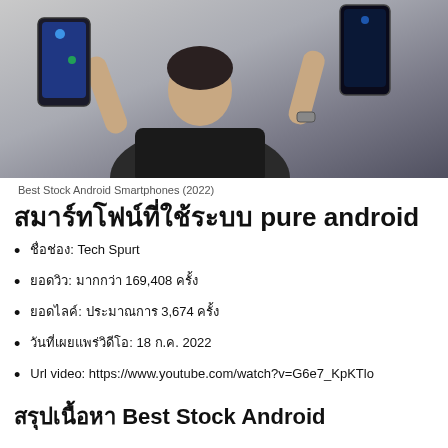[Figure (photo): Man holding two smartphones up, one in each hand, wearing a black t-shirt against a light background]
Best Stock Android Smartphones (2022)
สมาร์ทโฟนที่ใช้ระบบ pure android
ชื่อช่อง: Tech Spurt
ยอดวิว: มากกว่า 169,408 ครั้ง
ยอดไลค์: ประมาณการ 3,674 ครั้ง
วันที่เผยแพร่วิดีโอ: 18 ก.ค. 2022
Url video: https://www.youtube.com/watch?v=G6e7_KpKTlo
สรุปเนื้อหา Best Stock Android